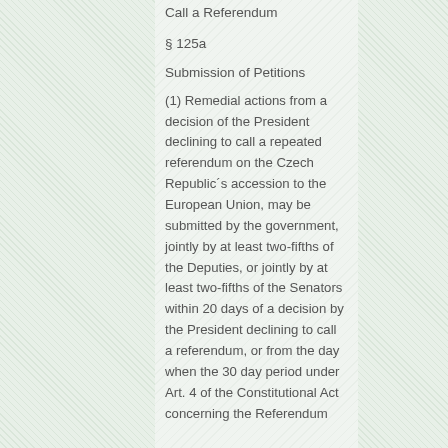Call a Referendum
§ 125a
Submission of Petitions
(1) Remedial actions from a decision of the President declining to call a repeated referendum on the Czech Republic´s accession to the European Union, may be submitted by the government, jointly by at least two-fifths of the Deputies, or jointly by at least two-fifths of the Senators within 20 days of a decision by the President declining to call a referendum, or from the day when the 30 day period under Art. 4 of the Constitutional Act concerning the Referendum